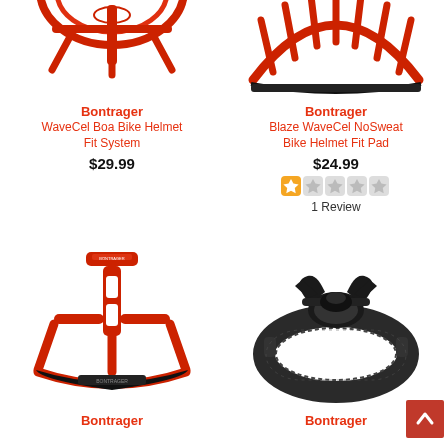[Figure (photo): Red Bontrager WaveCel Boa Bike Helmet Fit System partial view from top-left]
Bontrager
WaveCel Boa Bike Helmet Fit System
$29.99
[Figure (photo): Red Bontrager Blaze WaveCel NoSweat Bike Helmet Fit Pad partial view from top-right]
Bontrager
Blaze WaveCel NoSweat Bike Helmet Fit Pad
$24.99
[Figure (other): Star rating: 1 out of 5 stars (orange filled star, 4 empty stars)]
1 Review
[Figure (photo): Red Bontrager helmet fit system component - bottom left product image]
Bontrager
[Figure (photo): Black Bontrager helmet adjustment strap/dial system - bottom right product image]
Bontrager